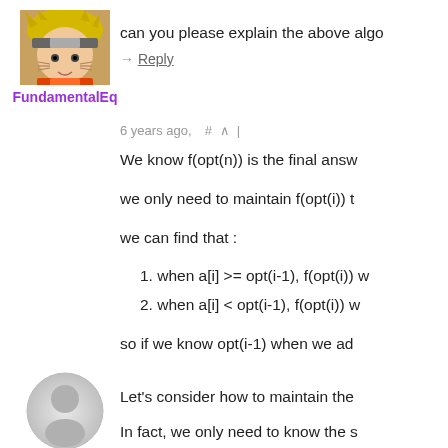[Figure (photo): Avatar image of user FundamentalEq showing an anime character]
can you please explain the above algo
→ Reply
6 years ago,   #  ∧  |
We know f(opt(n)) is the final answ
we only need to maintain f(opt(i)) t
we can find that :
1. when a[i] >= opt(i-1), f(opt(i)) w
2. when a[i] < opt(i-1), f(opt(i)) w
so if we know opt(i-1) when we ad
[Figure (illustration): Generic user avatar silhouette icon for user idy002]
Let's consider how to maintain the
In fact, we only need to know the s become 0 will be the opt(i).